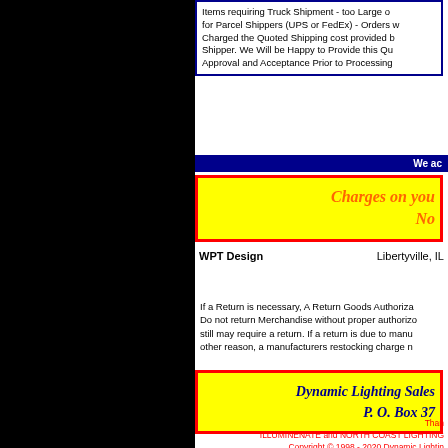Items requiring Truck Shipment - too Large or heavy for Parcel Shippers (UPS or FedEx) - Orders will be Charged the Quoted Shipping cost provided by the Shipper. We Will be Happy to Provide this Quote for Approval and Acceptance Prior to Processing
We ac
Charges on you No
WPT Design   Libertyville, IL
If a Return is necessary, A Return Goods Authoriza Do not return Merchandise without proper authorizo still may require a return. If a return is due to manu other reason, a manufacturers restocking charge n
Dynamic Lighting Sales P. O. Box 37
Than ILLUMINENATE and NORTH COAST LIGHTING Copyright © 1998 - 2020 Dynamic Lightin